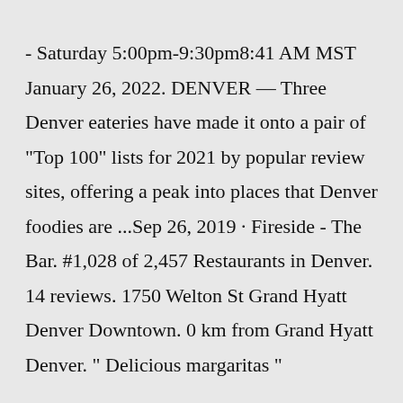- Saturday 5:00pm-9:30pm8:41 AM MST January 26, 2022. DENVER — Three Denver eateries have made it onto a pair of "Top 100" lists for 2021 by popular review sites, offering a peak into places that Denver foodies are ...Sep 26, 2019 · Fireside - The Bar. #1,028 of 2,457 Restaurants in Denver. 14 reviews. 1750 Welton St Grand Hyatt Denver Downtown. 0 km from Grand Hyatt Denver. " Delicious margaritas "